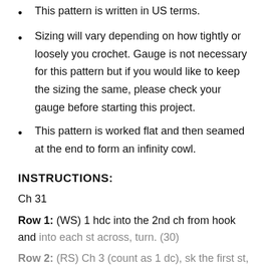This pattern is written in US terms.
Sizing will vary depending on how tightly or loosely you crochet. Gauge is not necessary for this pattern but if you would like to keep the sizing the same, please check your gauge before starting this project.
This pattern is worked flat and then seamed at the end to form an infinity cowl.
INSTRUCTIONS:
Ch 31
Row 1: (WS) 1 hdc into the 2nd ch from hook and into each st across, turn. (30)
Row 2: (RS) Ch 3 (count as 1 dc), sk the first st, 1 dc